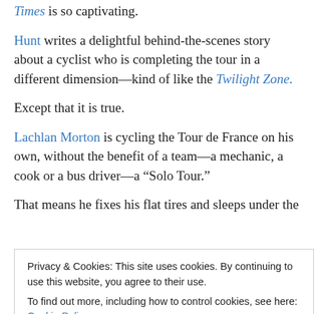Times is so captivating.
Hunt writes a delightful behind-the-scenes story about a cyclist who is completing the tour in a different dimension—kind of like the Twilight Zone.
Except that it is true.
Lachlan Morton is cycling the Tour de France on his own, without the benefit of a team—a mechanic, a cook or a bus driver—a “Solo Tour.”
That means he fixes his flat tires and sleeps under the
Privacy & Cookies: This site uses cookies. By continuing to use this website, you agree to their use.
To find out more, including how to control cookies, see here: Cookie Policy
contor of the camera lens; it’s off to the side